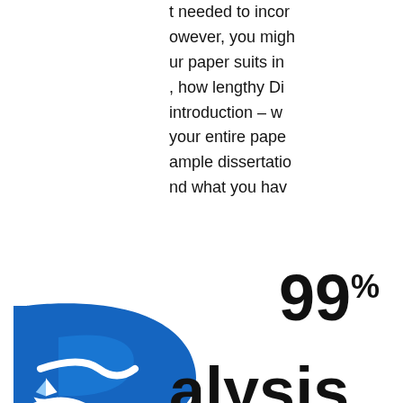t needed to incor
owever, you migh
ur paper suits in
, how lengthy Di
introduction – w
your entire pape
ample dissertatio
nd what you hav
[Figure (logo): Blue stylized letter R with river/road and sailboat logo]
99%
alysis
ess Bu
tation
cts